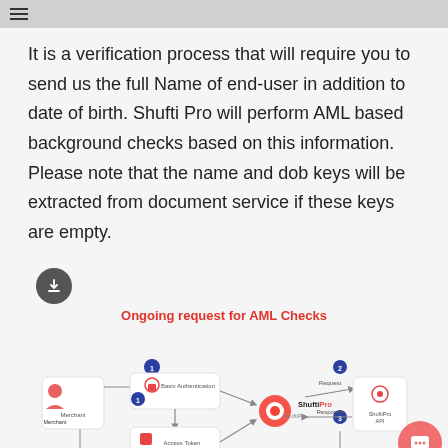≡
It is a verification process that will require you to send us the full Name of end-user in addition to date of birth. Shufti Pro will perform AML based background checks based on this information. Please note that the name and dob keys will be extracted from document service if these keys are empty.
[Figure (flowchart): Ongoing request for AML Checks flowchart showing Merchant connecting through Basic Authentication and Access Token to ShuftiPro, which connects via Request and Response to ShuftiPro API]
Ongoing request for AML Checks